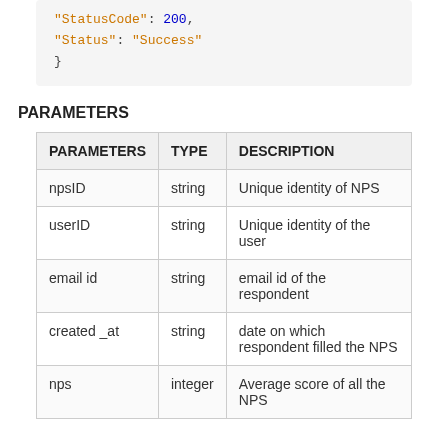"StatusCode": 200,
    "Status": "Success"
}
PARAMETERS
| PARAMETERS | TYPE | DESCRIPTION |
| --- | --- | --- |
| npsID | string | Unique identity of NPS |
| userID | string | Unique identity of the user |
| email id | string | email id of the respondent |
| created _at | string | date on which respondent filled the NPS |
| nps | integer | Average score of all the NPS |